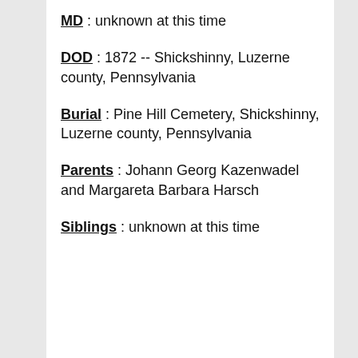MD : unknown at this time
DOD : 1872 -- Shickshinny, Luzerne county, Pennsylvania
Burial : Pine Hill Cemetery, Shickshinny, Luzerne county, Pennsylvania
Parents : Johann Georg Kazenwadel and Margareta Barbara Harsch
Siblings : unknown at this time